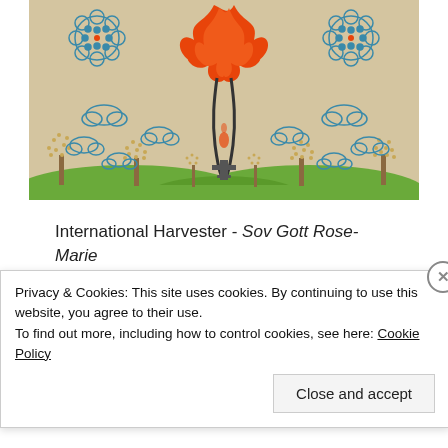[Figure (illustration): Colorful folk-art style illustration showing a large orange flame rising from a black stem with a cross at the base, surrounded by stylized trees with small leaf-like dots in brown, green grass hills at the bottom, and blue outlined cloud shapes floating around. Two decorative snowflake/flower medallions in teal blue appear in the upper corners.]
International Harvester - Sov Gott Rose-Marie (1968)
Privacy & Cookies: This site uses cookies. By continuing to use this website, you agree to their use.
To find out more, including how to control cookies, see here: Cookie Policy